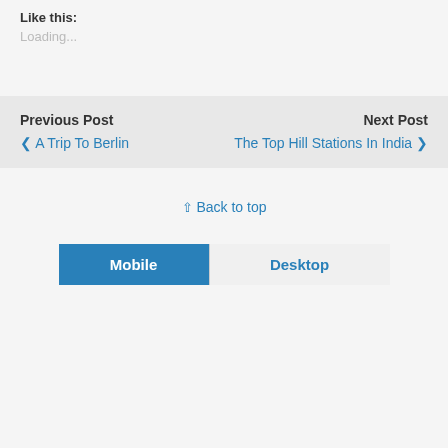Like this:
Loading...
Previous Post
❮ A Trip To Berlin
Next Post
The Top Hill Stations In India ❯
⇧ Back to top
Mobile
Desktop